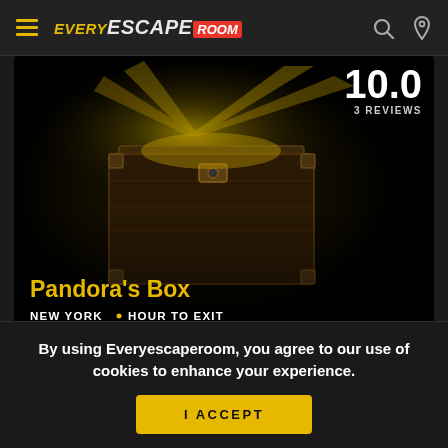Every Escape Room — navigation bar with hamburger menu, logo, search and location icons
[Figure (photo): Dark atmospheric photo of a glowing treasure chest (Pandora's Box) with golden light rays, overlaid with rating badge '10.0' and '3 REVIEWS', and card title 'Pandora's Box', location 'NEW YORK • HOUR TO EXIT']
Curiosity killed the Kingdom ....or did it? Pandora has opened the box that Zeus has strictly forbidden. Releasing all the evil spirits upon humanity. H...
By using Everyescaperoom, you agree to our use of cookies to enhance your experience.
I ACCEPT